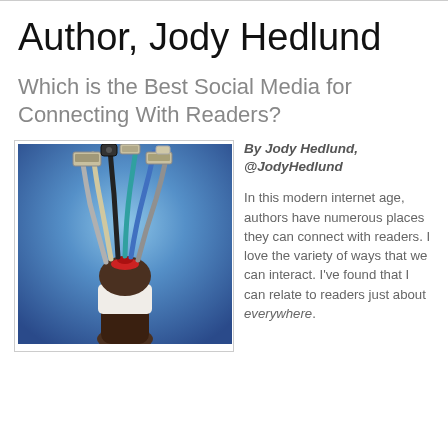Author, Jody Hedlund
Which is the Best Social Media for Connecting With Readers?
[Figure (photo): A hand holding a bundle of various computer cables and connectors tied with a red ribbon, against a blue background.]
By Jody Hedlund, @JodyHedlund

In this modern internet age, authors have numerous places they can connect with readers. I love the variety of ways that we can interact. I've found that I can relate to readers just about everywhere.